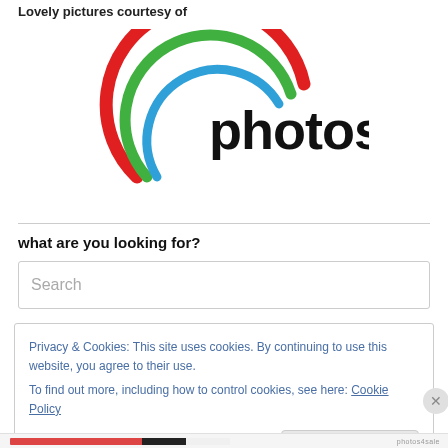Lovely pictures courtesy of
[Figure (logo): photos4sale logo with colorful circular arc design in red, green, and blue, with bold black text 'photos4sale']
what are you looking for?
Search
Privacy & Cookies: This site uses cookies. By continuing to use this website, you agree to their use. To find out more, including how to control cookies, see here: Cookie Policy
Close and accept